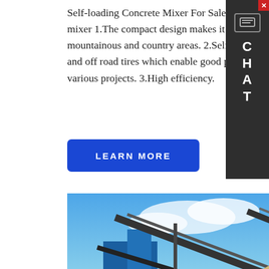Self-loading Concrete Mixer For Sale - LUZUN. Advantages of self loading concrete mixer 1.The compact design makes it flexible in narrow space and suitable for mountainous and country areas. 2.Self loading concrete mixers adopt 4*4 driving system and off road tires which enable good pass-ability on rough terrains thus it is widely used in various projects. 3.High efficiency.
[Figure (other): Chat widget on the right side with close button (X), message icon, and vertical letters C H A T on dark background]
[Figure (other): Blue LEARN MORE button]
[Figure (photo): Industrial aggregate/concrete plant with conveyor belts, metal structures, blue sky with clouds, and piles of sand/gravel in the foreground. A chat bubble overlay reads 'Hey, we are live 24/7. How may I help you?' with a blue circle chat icon.]